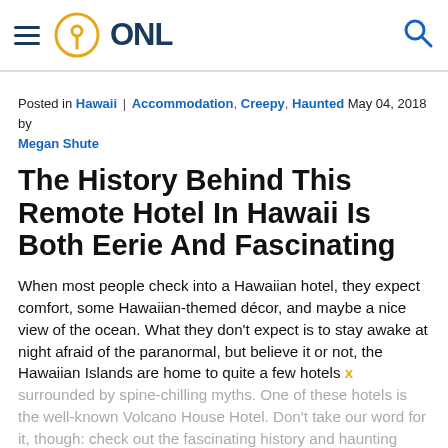ONL (logo/navigation header)
Posted in Hawaii | Accommodation, Creepy, Haunted May 04, 2018 by Megan Shute
The History Behind This Remote Hotel In Hawaii Is Both Eerie And Fascinating
When most people check into a Hawaiian hotel, they expect comfort, some Hawaiian-themed décor, and maybe a nice view of the ocean. What they don't expect is to stay awake at night afraid of the paranormal, but believe it or not, the Hawaiian Islands are home to quite a few hotels surrounded by spine-chilling myths. One of these hotels is the well-known Volcano House Hotel. Don't take our word for it, though: check out the fascinating history and haunting stories surrounding this otherwise picturesque lodge.